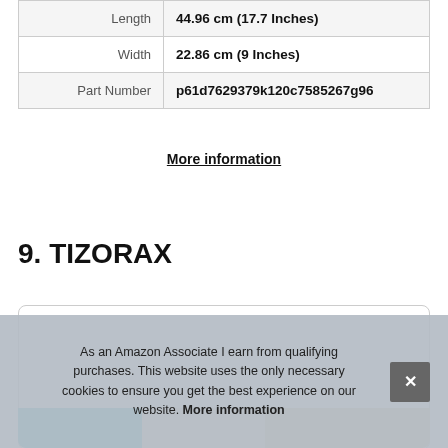|  |  |
| --- | --- |
| Length | 44.96 cm (17.7 Inches) |
| Width | 22.86 cm (9 Inches) |
| Part Number | p61d7629379k120c7585267g96 |
More information
9. TIZORAX
As an Amazon Associate I earn from qualifying purchases. This website uses the only necessary cookies to ensure you get the best experience on our website. More information